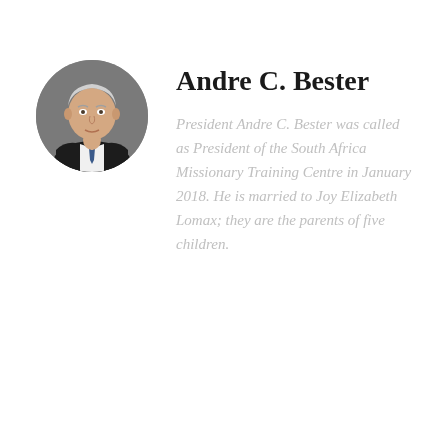[Figure (photo): Circular portrait photo of Andre C. Bester, a middle-aged man in a dark suit with a tie, gray background]
Andre C. Bester
President Andre C. Bester was called as President of the South Africa Missionary Training Centre in January 2018. He is married to Joy Elizabeth Lomax; they are the parents of five children.